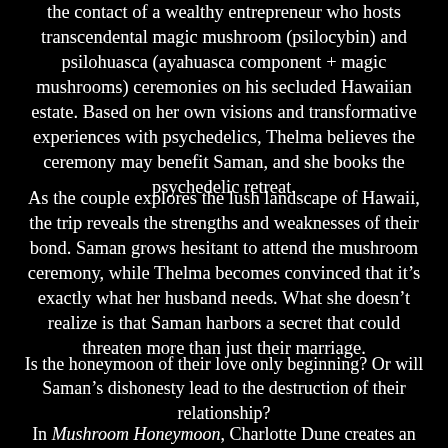the contact of a wealthy entrepreneur who hosts transcendental magic mushroom (psilocybin) and psilohuasca (ayahuasca component + magic mushrooms) ceremonies on his secluded Hawaiian estate. Based on her own visions and transformative experiences with psychedelics, Thelma believes the ceremony may benefit Saman, and she books the psychedelic retreat.
As the couple explores the lush landscape of Hawaii, the trip reveals the strengths and weaknesses of their bond. Saman grows hesitant to attend the mushroom ceremony, while Thelma becomes convinced that it's exactly what her husband needs. What she doesn't realize is that Saman harbors a secret that could threaten more than just their marriage.
Is the honeymoon of their love only beginning? Or will Saman's dishonesty lead to the destruction of their relationship?
In Mushroom Honeymoon, Charlotte Dune creates an